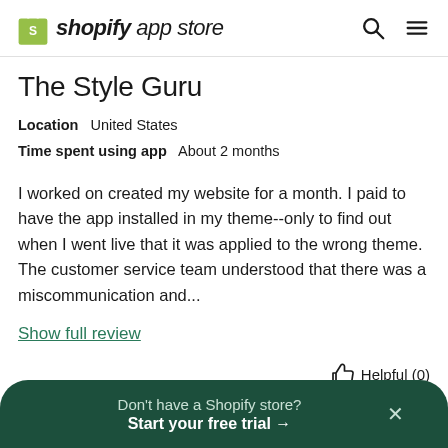shopify app store
The Style Guru
Location   United States
Time spent using app   About 2 months
I worked on created my website for a month. I paid to have the app installed in my theme--only to find out when I went live that it was applied to the wrong theme. The customer service team understood that there was a miscommunication and...
Show full review
Helpful (0)
Don't have a Shopify store?
Start your free trial →